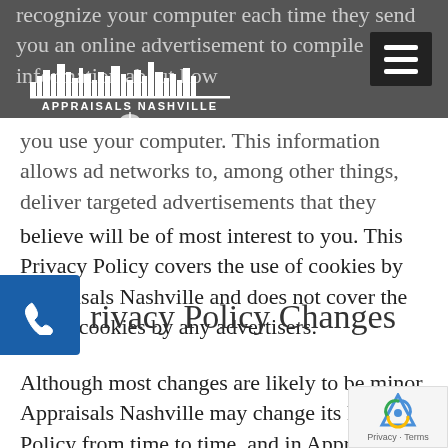[Figure (logo): Appraisals Nashville logo — white skyline silhouette above text 'APPRAISALS NASHVILLE' with guitar icon, on a dark gray background header bar.]
recognize your computer each time they send you an online advertisement to compile information about how you use your computer. This information allows ad networks to, among other things, deliver targeted advertisements that they believe will be of most interest to you. This Privacy Policy covers the use of cookies by Appraisals Nashville and does not cover the use of cookies by any advertisers.
Privacy Policy Changes
Although most changes are likely to be minor, Appraisals Nashville may change its Privacy Policy from time to time, and in Appraisals Nashville sole discretion. Appraisals Nashville encourages visitors to frequently check this page for any changes to its Privacy Policy. If you have a appraisalsnashville.com